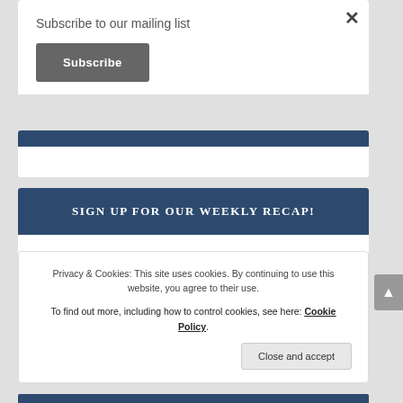Subscribe to our mailing list
Subscribe
SIGN UP FOR OUR WEEKLY RECAP!
Subscribe to Newsletter
Privacy & Cookies: This site uses cookies. By continuing to use this website, you agree to their use.
To find out more, including how to control cookies, see here: Cookie Policy
Close and accept